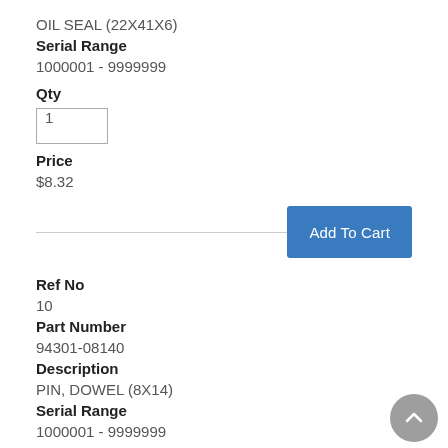OIL SEAL (22X41X6)
Serial Range
1000001 - 9999999
Qty
1
Price
$8.32
Add To Cart
Ref No
10
Part Number
94301-08140
Description
PIN, DOWEL (8X14)
Serial Range
1000001 - 9999999
Qty
2
Price